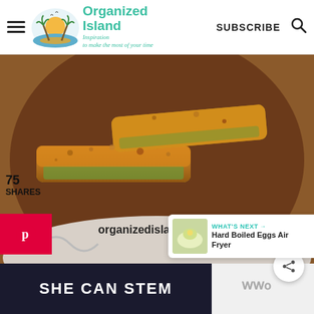Organized Island — Inspiration to make the most of your time — SUBSCRIBE
[Figure (photo): Breaded zucchini fries on a dark brown plate on a decorative white platter, with organizedisland.com watermark]
75 SHARES
WHAT'S NEXT → Hard Boiled Eggs Air Fryer
[Figure (infographic): SHE CAN STEM advertisement banner with dark background, and an icon on the right side]